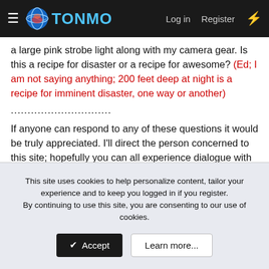TONMO | Log in | Register
a large pink strobe light along with my camera gear. Is this a recipe for disaster or a recipe for awesome? (Ed; I am not saying anything; 200 feet deep at night is a recipe for imminent disaster, one way or another)
..............................
If anyone can respond to any of these questions it would be truly appreciated. I'll direct the person concerned to this site; hopefully you can all experience dialogue with them.
Ta
Me
This site uses cookies to help personalize content, tailor your experience and to keep you logged in if you register.
By continuing to use this site, you are consenting to our use of cookies.